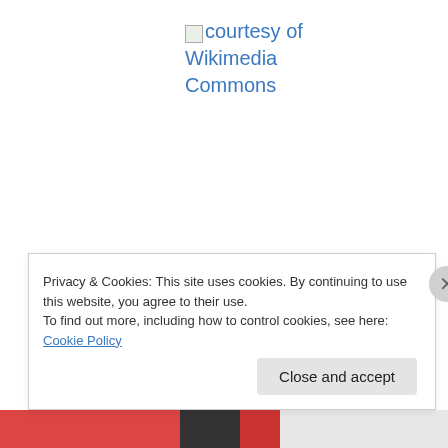[Figure (other): Broken image placeholder with linked text 'courtesy of Wikimedia Commons' in blue]
courtesy of Wikimedia Commons
Several weeks ago a couple of friends visited us in Pocono Manor. We had a very nice time together and we discussed different topics. They mentioned that their
Privacy & Cookies: This site uses cookies. By continuing to use this website, you agree to their use.
To find out more, including how to control cookies, see here: Cookie Policy
Close and accept